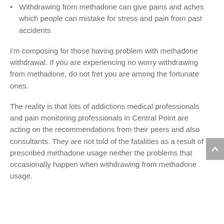Withdrawing from methadone can give pains and aches which people can mistake for stress and pain from past accidents
I'm composing for those having problem with methadone withdrawal. If you are experiencing no worry withdrawing from methadone, do not fret you are among the fortunate ones.
The reality is that lots of addictions medical professionals and pain monitoring professionals in Central Point are acting on the recommendations from their peers and also consultants. They are not told of the fatalities as a result of prescribed methadone usage neither the problems that occasionally happen when withdrawing from methadone usage.